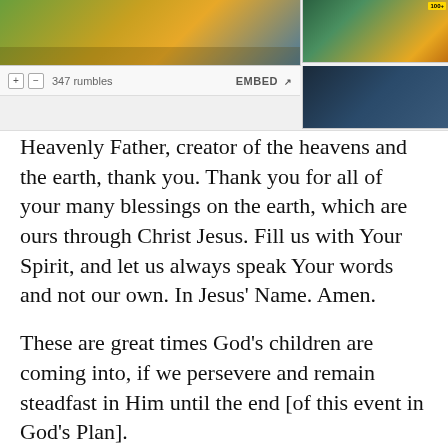[Figure (screenshot): Video player thumbnail showing a landscape scene with golden and green tones, with a bottom toolbar showing + and - buttons, 347 rumbles count, and EMBED button. Two smaller video thumbnails appear on the right side.]
Heavenly Father, creator of the heavens and the earth, thank you. Thank you for all of your many blessings on the earth, which are ours through Christ Jesus. Fill us with Your Spirit, and let us always speak Your words and not our own. In Jesus' Name. Amen.
These are great times God's children are coming into, if we persevere and remain steadfast in Him until the end [of this event in God's Plan].
Click here, here, and here, to see God's